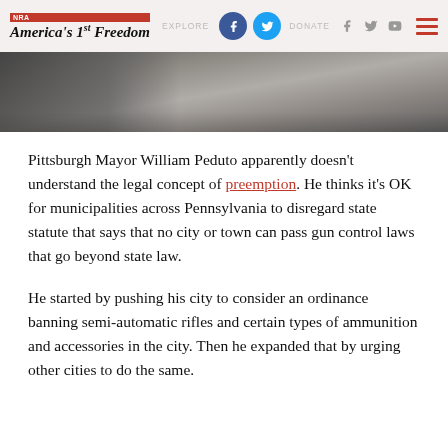NRA America's 1st Freedom — EXPLORE | JOIN | DONATE
[Figure (photo): Close-up photo of a man in a suit, face partially visible, looking down]
Pittsburgh Mayor William Peduto apparently doesn't understand the legal concept of preemption. He thinks it's OK for municipalities across Pennsylvania to disregard state statute that says that no city or town can pass gun control laws that go beyond state law.
He started by pushing his city to consider an ordinance banning semi-automatic rifles and certain types of ammunition and accessories in the city. Then he expanded that by urging other cities to do the same.